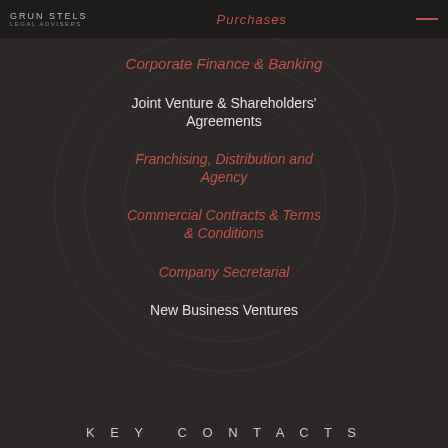LEGAL ADVISERS | Purchases
Corporate Finance & Banking
Joint Venture & Shareholders' Agreements
Franchising, Distribution and Agency
Commercial Contracts & Terms & Conditions
Company Secretarial
New Business Ventures
KEY CONTACTS